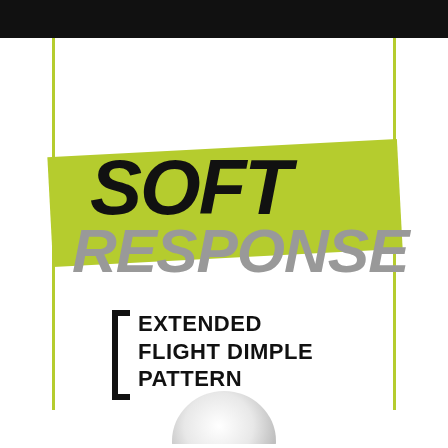SOFT RESPONSE
EXTENDED FLIGHT DIMPLE PATTERN